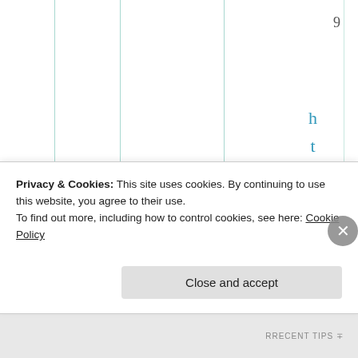9
https://w
Privacy & Cookies: This site uses cookies. By continuing to use this website, you agree to their use.
To find out more, including how to control cookies, see here: Cookie Policy
Close and accept